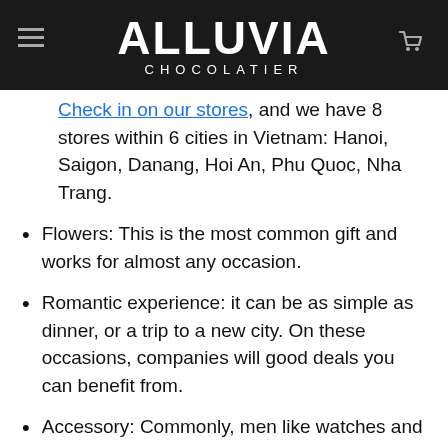ALLUVIA CHOCOLATIER
Check in on our stores, and we have 8 stores within 6 cities in Vietnam: Hanoi, Saigon, Danang, Hoi An, Phu Quoc, Nha Trang.
Flowers: This is the most common gift and works for almost any occasion.
Romantic experience: it can be as simple as dinner, or a trip to a new city. On these occasions, companies will good deals you can benefit from.
Accessory: Commonly, men like watches and women like necklaces, or rings.
Outfit: Shoes, bags, shirts, hats, etc., there are plenty of options. A walk in the mall and I bet